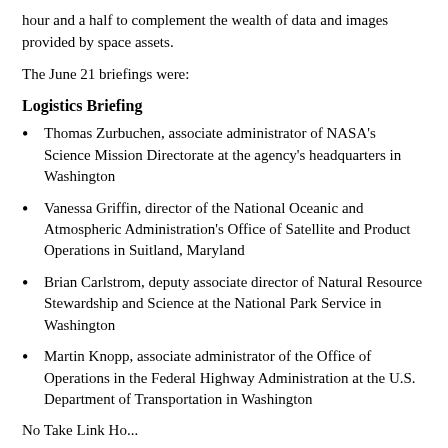hour and a half to complement the wealth of data and images provided by space assets.
The June 21 briefings were:
Logistics Briefing
Thomas Zurbuchen, associate administrator of NASA's Science Mission Directorate at the agency's headquarters in Washington
Vanessa Griffin, director of the National Oceanic and Atmospheric Administration's Office of Satellite and Product Operations in Suitland, Maryland
Brian Carlstrom, deputy associate director of Natural Resource Stewardship and Science at the National Park Service in Washington
Martin Knopp, associate administrator of the Office of Operations in the Federal Highway Administration at the U.S. Department of Transportation in Washington
No Take Link Ho...